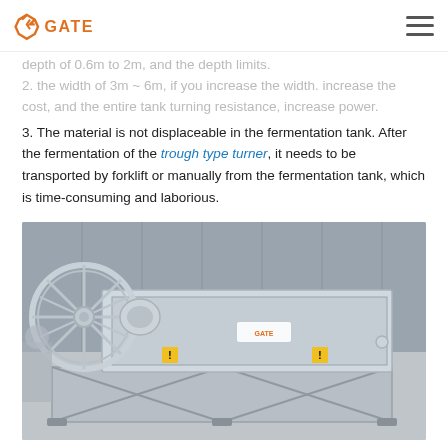GATE
depth of 0.6m to 2m, and the depth limits.
2. the width of 3m ~ 6m, if you increase the width. increase the cost, and the entire tank turning resistance, increase power.
3. The material is not displaceable in the fermentation tank. After the fermentation of the trough type turner, it needs to be transported by forklift or manually from the fermentation tank, which is time-consuming and laborious.
[Figure (photo): Photo of a trough type turner machine on a metal frame/stand in an industrial warehouse setting. The machine is white/grey colored with a large circular wheel/drum on the left side and a rectangular body with support legs and cross-bracing below.]